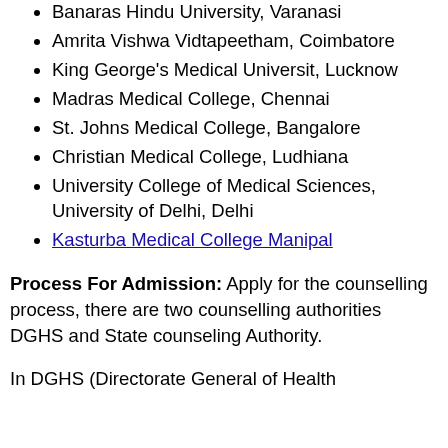Banaras Hindu University, Varanasi
Amrita Vishwa Vidtapeetham, Coimbatore
King George's Medical Universit, Lucknow
Madras Medical College, Chennai
St. Johns Medical College, Bangalore
Christian Medical College, Ludhiana
University College of Medical Sciences, University of Delhi, Delhi
Kasturba Medical College Manipal
Process For Admission: Apply for the counselling process, there are two counselling authorities DGHS and State counseling Authority.
In DGHS (Directorate General of Health